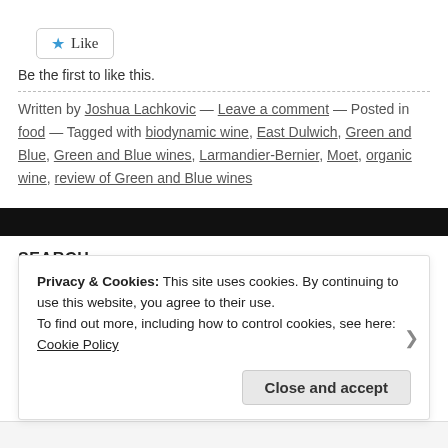[Figure (screenshot): Like button with blue star icon]
Be the first to like this.
Written by Joshua Lachkovic — Leave a comment — Posted in food — Tagged with biodynamic wine, East Dulwich, Green and Blue, Green and Blue wines, Larmandier-Bernier, Moet, organic wine, review of Green and Blue wines
[Figure (screenshot): Black navigation bar]
SEARCH
[Figure (screenshot): Search input box with magnifying glass icon]
Privacy & Cookies: This site uses cookies. By continuing to use this website, you agree to their use. To find out more, including how to control cookies, see here: Cookie Policy
Close and accept